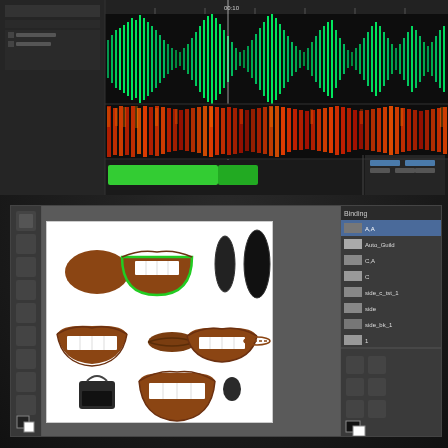[Figure (screenshot): Audio editing software (Adobe Audition or similar) showing waveform and spectrogram tracks with a green timeline clip at the bottom. The waveform is displayed in green against a black background, with a red/orange spectrogram below it. A green block clip appears at the bottom timeline.]
[Figure (screenshot): Adobe Photoshop or animation software showing a sprite sheet of cartoon character mouth/lip sync shapes on a white canvas. The sprite sheet contains approximately 9 different mouth positions including closed, open, smiling, various phoneme shapes. Brown/dark skin tones for a cartoon character. Right side shows layers panel.]